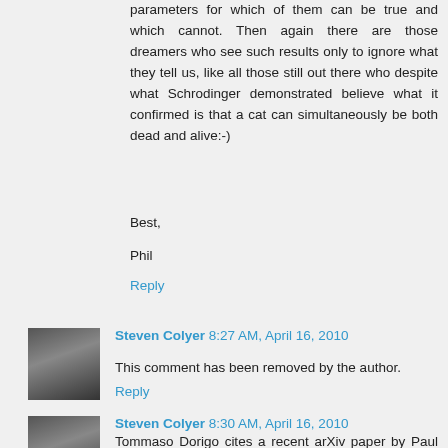parameters for which of them can be true and which cannot. Then again there are those dreamers who see such results only to ignore what they tell us, like all those still out there who despite what Schrodinger demonstrated believe what it confirmed is that a cat can simultaneously be both dead and alive:-)
Best,
Phil
Reply
Steven Colyer 8:27 AM, April 16, 2010
This comment has been removed by the author.
Reply
Steven Colyer 8:30 AM, April 16, 2010
Tommaso Dorigo cites a recent arXiv paper by Paul Howard Frampton at his website: here titled "Solution to